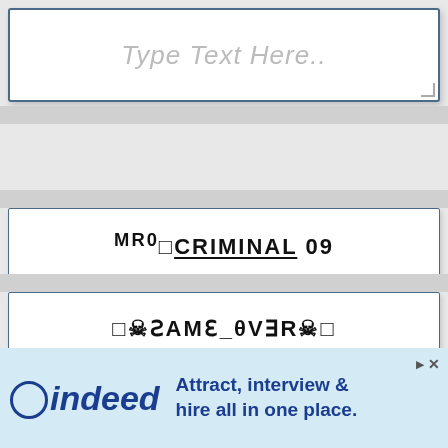Type Text Here..
MRo□CRIMINAL 09
□☠ƧAMƐ_θVƎR☠□
□□□ ➤NÏNƆJA □
□IND□✪ꝽAMER□
[Figure (screenshot): Indeed advertisement banner: 'Attract, interview & hire all in one place.']